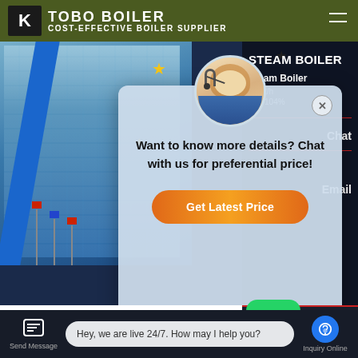COST-EFFECTIVE BOILER SUPPLIER
[Figure (screenshot): Website screenshot showing a boiler supplier page with a popup chat modal featuring an agent avatar, the message 'Want to know more details? Chat with us for preferential price!' and a 'Get Latest Price' button. Background shows a building with flags. Right panel shows Steam Boiler product info with Chat and Email links. Bottom shows SZL D Type Double heading with WhatsApp contact buttons and a chat toolbar saying 'Hey, we are live 24/7. How may I help you?']
Want to know more details? Chat with us for preferential price!
Get Latest Price
SZL D Type Double
Contact us now!
Hey, we are live 24/7. How may I help you?
Send Message
Inquiry Online